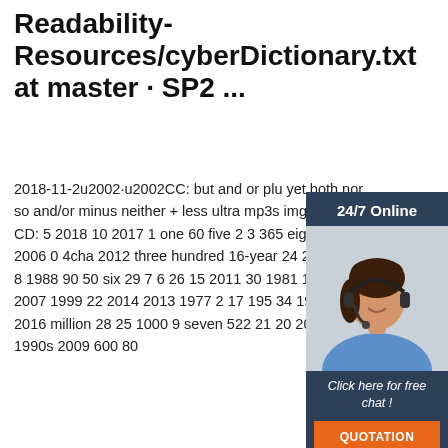Readability-Resources/cyberDictionary.txt at master · SP2 ...
2018-11-2u2002·u2002CC: but and or plu yet both nor so and/or minus neither + less ultra mp3s img tcp : CD: 5 2018 10 2017 1 one 60 five 2 3 365 eight two 2006 0 4cha 2012 three hundred 16-year 24 2000 40 8 1988 90 50 six 29 7 6 26 15 2011 30 1981 1992 562 2007 1999 22 2014 2013 1977 2 17 195 34 1967 2016 million 28 25 1000 9 seven 522 21 20 2004 1990s 2009 600 80
[Figure (photo): Customer service representative (woman with headset) in a dark blue sidebar panel with '24/7 Online' header, 'Click here for free chat!' text, and orange QUOTATION button]
Get Price